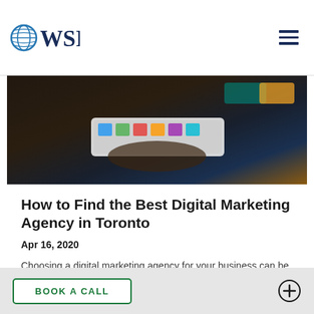WSI
[Figure (photo): A dark-toned photograph showing hands holding a tablet device with colorful icons/apps visible on the screen; business setting.]
How to Find the Best Digital Marketing Agency in Toronto
Apr 16, 2020
Choosing a digital marketing agency for your business can be overwhelming, given the many options available. However, with new marketing tactics popping ...
BOOK A CALL